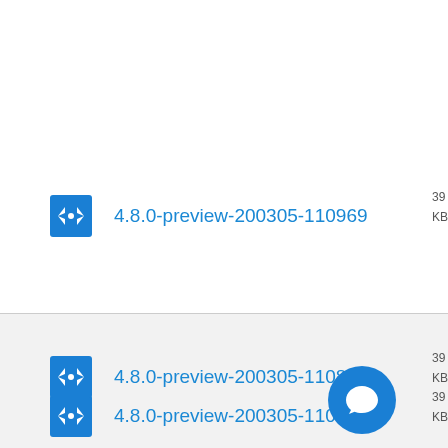4.8.0-preview-200305-110969
4.8.0-preview-200305-110944
4.8.0-preview-200305-110888